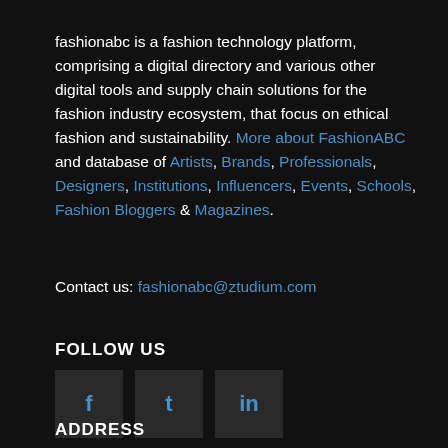fashionabc is a fashion technology platform, comprising a digital directory and various other digital tools and supply chain solutions for the fashion industry ecosystem, that focus on ethical fashion and sustainability. More about FashionABC and database of Artists, Brands, Professionals, Designers, Institutions, Influencers, Events, Schools, Fashion Bloggers & Magazines.
Contact us: fashionabc@ztudium.com
FOLLOW US
[Figure (other): Three social media icon boxes (Facebook, Twitter/X, LinkedIn) with dark background squares]
ADDRESS